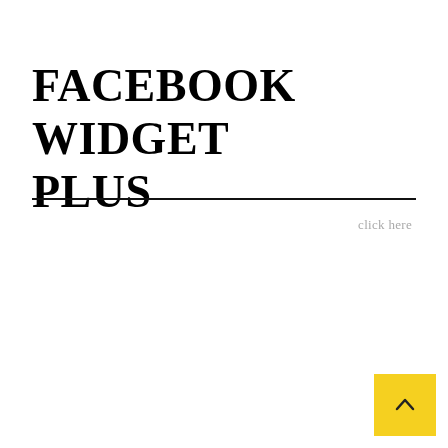FACEBOOK WIDGET PLUS
click here